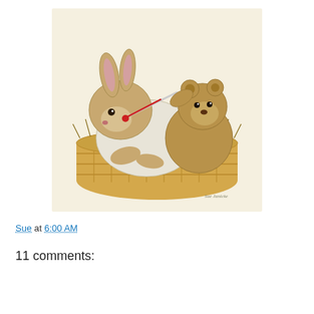[Figure (illustration): A charming pencil/colored illustration of a large brown bunny rabbit lying in a wicker basket filled with straw/hay. A small brown teddy bear sits behind the bunny and holds a red thermometer up to the bunny's nose, as if taking its temperature. The basket is woven in a classic pattern. The background of the illustration is cream/off-white.]
Sue at 6:00 AM
11 comments: